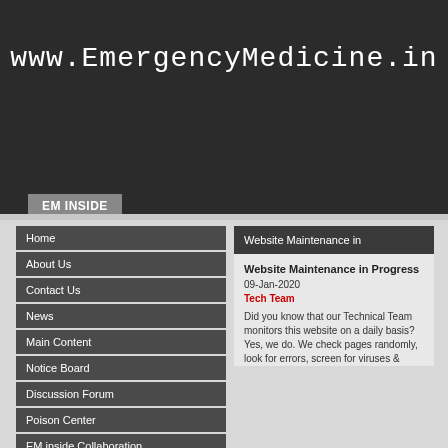Home
www.EmergencyMedicine.in
EM INSIDE
Home
About Us
Contact Us
News
Main Content
Notice Board
Discussion Forum
Poison Center
EM inside Collaboration
EM inside Whitepapers
Website Maintenance in
Website Maintenance in Progress
09-Jan-2020
Tech Team

Did you know that our Technical Team monitors this website on a daily basis? Yes, we do. We check pages randomly, look for errors, screen for viruses &